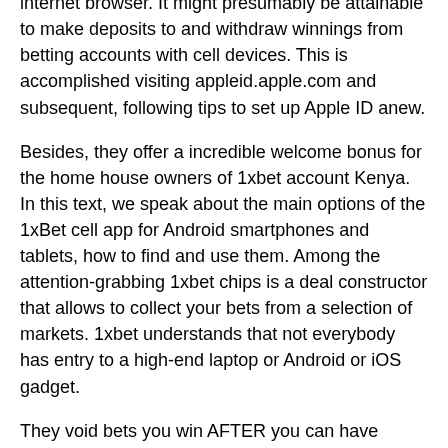bookmaker's mobile app or by accessing a betting website online by method of your cellphone's internet browser. It might presumably be attainable to make deposits to and withdraw winnings from betting accounts with cell devices. This is accomplished visiting appleid.apple.com and subsequent, following tips to set up Apple ID anew.
Besides, they offer a incredible welcome bonus for the home house owners of 1xbet account Kenya. In this text, we speak about the main options of the 1xBet cell app for Android smartphones and tablets, how to find and use them. Among the attention-grabbing 1xbet chips is a deal constructor that allows to collect your bets from a selection of markets. 1xbet understands that not everybody has entry to a high-end laptop or Android or iOS gadget.
They void bets you win AFTER you can have acquired, terribly illegal, and the EGBA has them beneath a microscope. This is nonsense due to its been 2 days and the outcomes have been posted on all the internet pages. So you'll be capable of place bets in 1xBet it's essential to create a service provider account to start out with. To redeem the bonus, you must wager thrice the bonus quantity in accumulator bets inside 24 hours of receiving the bonus, i.e. the accumulator should hold a minimum of...